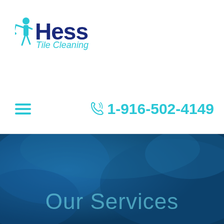[Figure (logo): Hess Tile Cleaning logo with figure of person cleaning and blue text]
≡
☎ 1-916-502-4149
[Figure (photo): Blue textured background hero section]
Our Services